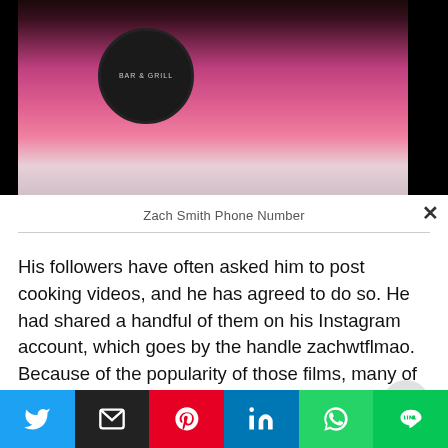[Figure (photo): Photo of a girl in a pink shirt with a bar and grill logo badge/patch, smiling outdoors. Dark background at top.]
Zach Smith Phone Number
His followers have often asked him to post cooking videos, and he has agreed to do so. He had shared a handful of them on his Instagram account, which goes by the handle zachwtflmao. Because of the popularity of those films, many of his followers